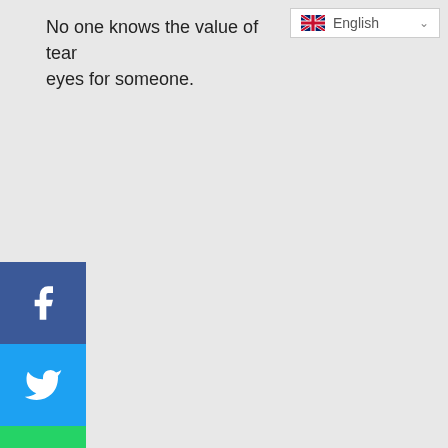No one knows the value of tears until they have shed tears from their eyes for someone.
[Figure (screenshot): Language selector dropdown showing UK flag and 'English' text with chevron]
[Figure (infographic): Social media share buttons sidebar: Facebook (blue), Twitter (light blue), WhatsApp (green), Instagram (gradient), Pinterest (red), Telegram (blue)]